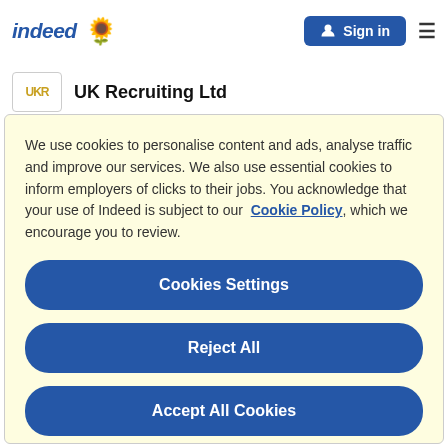indeed [sunflower icon] | Sign in | menu
UK Recruiting Ltd
We use cookies to personalise content and ads, analyse traffic and improve our services. We also use essential cookies to inform employers of clicks to their jobs. You acknowledge that your use of Indeed is subject to our Cookie Policy, which we encourage you to review.
Cookies Settings
Reject All
Accept All Cookies